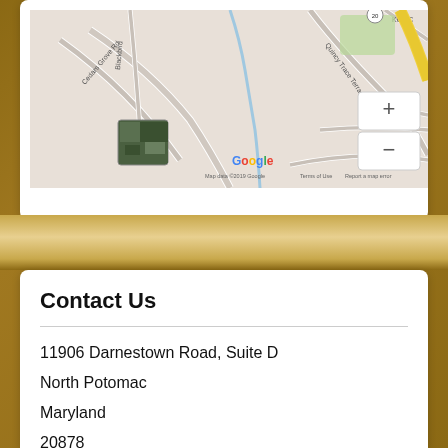[Figure (map): Google Maps screenshot showing North Potomac, Maryland area with roads including Cedars Grove Rd, Quincy Trace Terrace, Kent C road. Shows Google logo and map data copyright 2019 Google with Terms of Use and Report a map error links. Zoom in/out controls visible. Small satellite view thumbnail in bottom left.]
Contact Us
11906 Darnestown Road, Suite D
North Potomac
Maryland
20878
United States